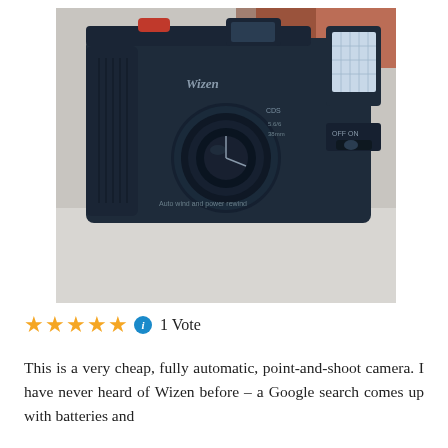[Figure (photo): A dark navy/black Wizen point-and-shoot film camera with a red shutter button on top, circular lens, flash unit on the right side, and text reading 'Auto wind and power rewind' on the front, photographed on a light gray surface.]
★★★★★ ℹ 1 Vote
This is a very cheap, fully automatic, point-and-shoot camera. I have never heard of Wizen before – a Google search comes up with batteries and chargers (which in this context means power sources)